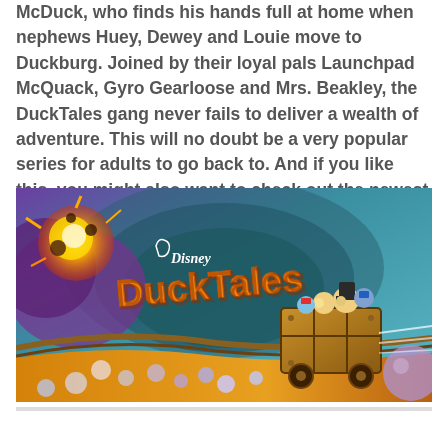McDuck, who finds his hands full at home when nephews Huey, Dewey and Louie move to Duckburg. Joined by their loyal pals Launchpad McQuack, Gyro Gearloose and Mrs. Beakley, the DuckTales gang never fails to deliver a wealth of adventure. This will no doubt be a very popular series for adults to go back to. And if you like this, you might also want to check out the newest version of the show, which is also really good.
[Figure (illustration): DuckTales promotional image showing the Disney DuckTales logo in orange/yellow lettering, with characters Huey, Dewey, Louie and Scrooge McDuck riding in a mine cart, set against a colorful fantasy background with mountains, explosions, and spheres.]